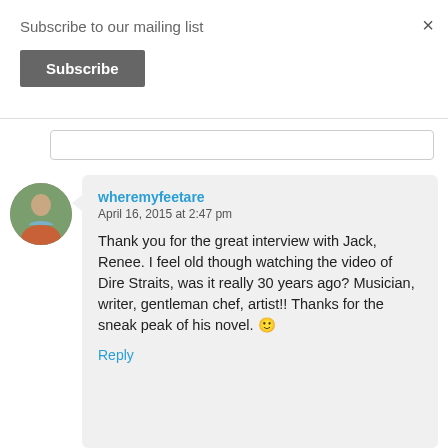Subscribe to our mailing list
Subscribe
wheremyfeetare
April 16, 2015 at 2:47 pm
Thank you for the great interview with Jack, Renee. I feel old though watching the video of Dire Straits, was it really 30 years ago? Musician, writer, gentleman chef, artist!! Thanks for the sneak peak of his novel. 🙂
Reply